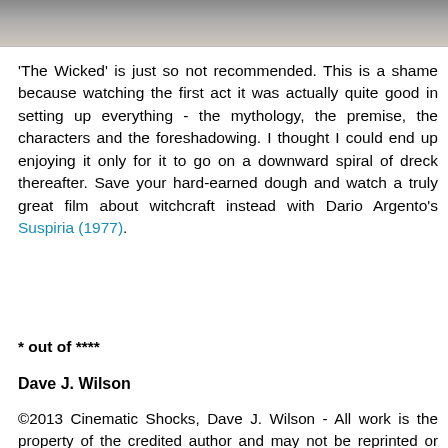[Figure (photo): Partial photo strip at top of page, appears to be a film still or scene photo, partially cropped]
'The Wicked' is just so not recommended. This is a shame because watching the first act it was actually quite good in setting up everything - the mythology, the premise, the characters and the foreshadowing. I thought I could end up enjoying it only for it to go on a downward spiral of dreck thereafter. Save your hard-earned dough and watch a truly great film about witchcraft instead with Dario Argento's Suspiria (1977).
* out of ****
Dave J. Wilson
©2013 Cinematic Shocks, Dave J. Wilson - All work is the property of the credited author and may not be reprinted or reproduced elsewhere without